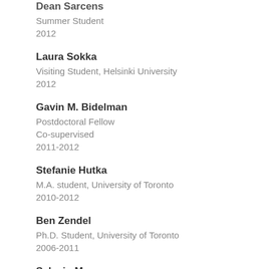Dean Sarcens
Summer Student
2012
Laura Sokka
Visiting Student, Helsinki University
2012
Gavin M. Bidelman
Postdoctoral Fellow
Co-supervised
2011-2012
Stefanie Hutka
M.A. student, University of Toronto
2010-2012
Ben Zendel
Ph.D. Student, University of Toronto
2006-2011
Sylvain Moreno
Postdoctoral Fellow
Co-supervised